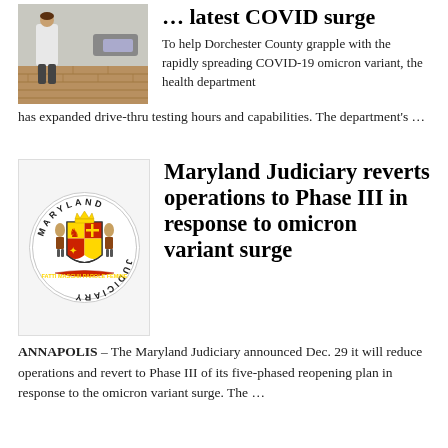[Figure (photo): Photo of a person in a light coat walking outdoors on a brick surface near parked cars]
... latest COVID surge
To help Dorchester County grapple with the rapidly spreading COVID-19 omicron variant, the health department has expanded drive-thru testing hours and capabilities. The department's …
[Figure (logo): Maryland Judiciary official seal/logo with text MARYLAND JUDICIARY around a coat of arms]
Maryland Judiciary reverts operations to Phase III in response to omicron variant surge
ANNAPOLIS – The Maryland Judiciary announced Dec. 29 it will reduce operations and revert to Phase III of its five-phased reopening plan in response to the omicron variant surge. The …